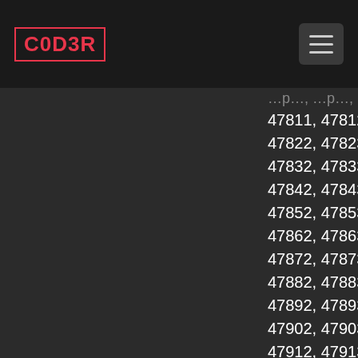C0D3R
47811, 47812, 47813, 47814, 47815, 47816, 47817, 47818... 47822, 47823, 47824, 47825, 47826, 47827, 47828... 47832, 47833, 47834, 47835, 47836, 47837, 47838... 47842, 47843, 47844, 47845, 47846, 47847, 47848... 47852, 47853, 47854, 47855, 47856, 47857, 47858... 47862, 47863, 47864, 47865, 47866, 47867, 47868... 47872, 47873, 47874, 47875, 47876, 47877, 47878... 47882, 47883, 47884, 47885, 47886, 47887, 47888... 47892, 47893, 47894, 47895, 47896, 47897, 47898... 47902, 47903, 47904, 47905, 47906, 47907, 47908... 47912, 47913, 47914, 47915, 47916, 47917, 47918, 47919... 47923, 47924, 47925, 47926, 47927, 47928, 47929... 47934, 47935, 47936, 47937, 47938, 47939, 47940... 47944, 47945, 47946, 47947, 47948, 47949, 47950... 47954, 47955, 47956, 47957, 47958, 47959, 47960...